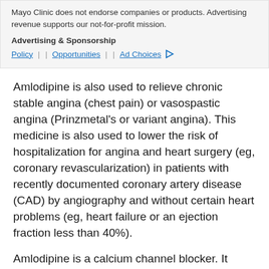Mayo Clinic does not endorse companies or products. Advertising revenue supports our not-for-profit mission.
Advertising & Sponsorship
Policy | Opportunities | Ad Choices
Amlodipine is also used to relieve chronic stable angina (chest pain) or vasospastic angina (Prinzmetal's or variant angina). This medicine is also used to lower the risk of hospitalization for angina and heart surgery (eg, coronary revascularization) in patients with recently documented coronary artery disease (CAD) by angiography and without certain heart problems (eg, heart failure or an ejection fraction less than 40%).
Amlodipine is a calcium channel blocker. It works by affecting the movement of calcium into the cells of the heart and blood vessels. This relaxes the blood vessels and lowers blood pressure, and increases the supply of blood and oxygen to the heart while reducing its workload.